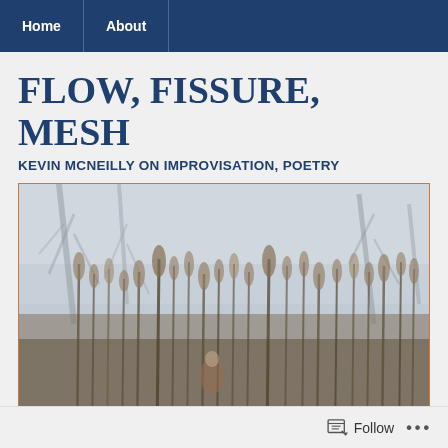Home | About
FLOW, FISSURE, MESH
KEVIN MCNEILLY ON IMPROVISATION, POETRY
[Figure (photo): Outdoor nature scene showing bare winter trees and tall grasses or reeds in the foreground, with a pale sky in the background. The image is slightly blurred/out of focus giving a soft atmospheric quality.]
Follow ...